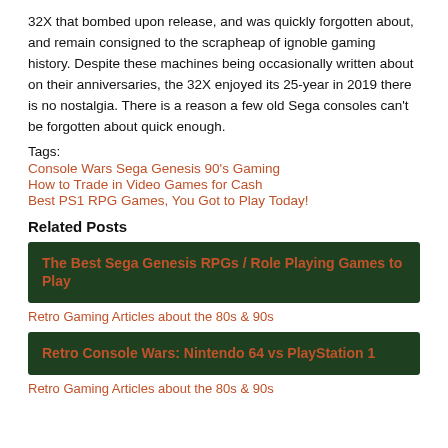32X that bombed upon release, and was quickly forgotten about, and remain consigned to the scrapheap of ignoble gaming history. Despite these machines being occasionally written about on their anniversaries, the 32X enjoyed its 25-year in 2019 there is no nostalgia. There is a reason a few old Sega consoles can't be forgotten about quick enough.
Tags:
Console Wars Sega Genesis 90's Gaming
How to Trade in Video Games for Cash
Best PS1 RPG Games, You Got to Play Today!
Related Posts
[Figure (other): Dark green card with orange bold text: The Best Sega Genesis RPGs / Role Playing Games to Play]
Retro Gaming Articles about the 80s & 90s
[Figure (other): Dark green card with orange bold text: Retro Console Wars: Nintendo 64 vs PlayStation 1]
Retro Gaming Articles about the 80s & 90s